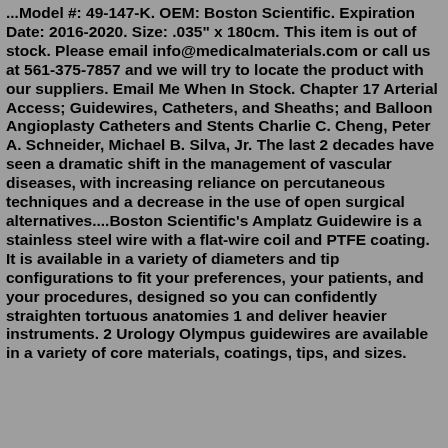...Model #: 49-147-K. OEM: Boston Scientific. Expiration Date: 2016-2020. Size: .035" x 180cm. This item is out of stock. Please email info@medicalmaterials.com or call us at 561-375-7857 and we will try to locate the product with our suppliers. Email Me When In Stock. Chapter 17 Arterial Access; Guidewires, Catheters, and Sheaths; and Balloon Angioplasty Catheters and Stents Charlie C. Cheng, Peter A. Schneider, Michael B. Silva, Jr. The last 2 decades have seen a dramatic shift in the management of vascular diseases, with increasing reliance on percutaneous techniques and a decrease in the use of open surgical alternatives....Boston Scientific's Amplatz Guidewire is a stainless steel wire with a flat-wire coil and PTFE coating. It is available in a variety of diameters and tip configurations to fit your preferences, your patients, and your procedures, designed so you can confidently straighten tortuous anatomies 1 and deliver heavier instruments. 2 Urology Olympus guidewires are available in a variety of core materials, coatings, tips, and sizes.